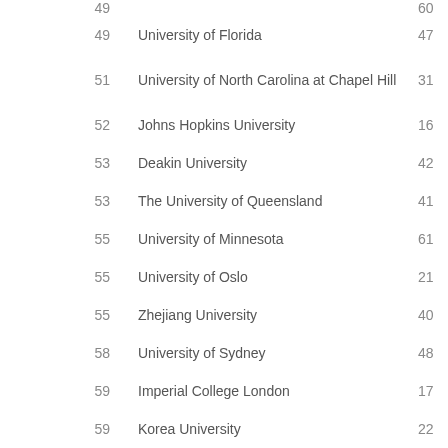| Rank | Institution | Value |
| --- | --- | --- |
| 49 |  | 60 |
| 49 | University of Florida | 47 |
| 51 | University of North Carolina at Chapel Hill | 31 |
| 52 | Johns Hopkins University | 16 |
| 53 | Deakin University | 42 |
| 53 | The University of Queensland | 41 |
| 55 | University of Minnesota | 61 |
| 55 | University of Oslo | 21 |
| 55 | Zhejiang University | 40 |
| 58 | University of Sydney | 48 |
| 59 | Imperial College London | 17 |
| 59 | Korea University | 22 |
| 61 | Brown University |  |